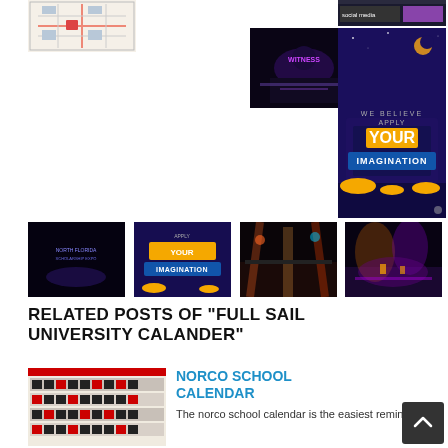[Figure (photo): Map/floor plan image top left]
[Figure (screenshot): Screenshot top right]
[Figure (photo): Dark stage/event image center]
[Figure (photo): Apply Your Imagination poster right side]
[Figure (photo): Bottom row thumbnail 1: dark scene with text]
[Figure (photo): Bottom row thumbnail 2: Apply Your Imagination neon sign]
[Figure (photo): Bottom row thumbnail 3: stage with lights]
[Figure (photo): Bottom row thumbnail 4: stage with purple lights]
RELATED POSTS OF "FULL SAIL UNIVERSITY CALANDER"
[Figure (photo): Norco School Calendar thumbnail - building facade with calendar grid]
NORCO SCHOOL CALENDAR
The norco school calendar is the easiest reminder. A